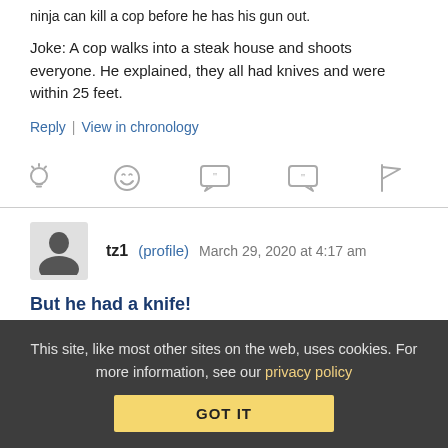ninja can kill a cop before he has his gun out.
Joke: A cop walks into a steak house and shoots everyone. He explained, they all had knives and were within 25 feet.
Reply | View in chronology
[Figure (infographic): Row of five action icons: lightbulb, laughing face, speech bubble with quotation marks, speech bubble with quotation marks, flag]
tz1 (profile) March 29, 2020 at 4:17 am
But he had a knife!
See, among others:
This site, like most other sites on the web, uses cookies. For more information, see our privacy policy GOT IT